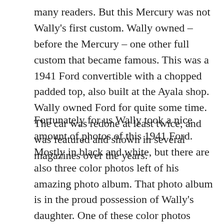many readers. But this Mercury was not Wally's first custom. Wally owned – before the Mercury – one other full custom that became famous. This was a 1941 Ford convertible with a chopped padded top, also built at the Ayala shop. Wally owned Ford for quite some time. The car was redone at least twice, and was featured and shown in several magazines over the years.
Fortunately for us Wally took a nice amount of photos of this 1941 Ford. Mostly in black and white, but there are also three color photos left of his amazing photo album. That photo album is in the proud possession of Wally's daughter. One of these color photos shows the car in an early version, with the filled center grille, stock outer grilles, and black wall tires. The other two photos show the car with the extended taillights, white wall tires as we know